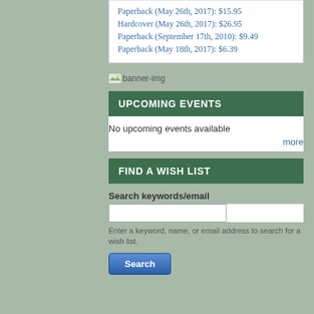Paperback (May 26th, 2017): $15.95
Hardcover (May 26th, 2017): $26.95
Paperback (September 17th, 2010): $9.49
Paperback (May 18th, 2017): $6.39
[Figure (other): banner-img placeholder image]
UPCOMING EVENTS
No upcoming events available
more
FIND A WISH LIST
Search keywords/email
Enter a keyword, name, or email address to search for a wish list.
Search